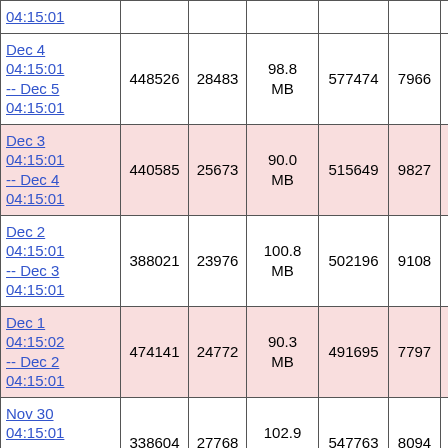| Date Range | Col2 | Col3 | Col4 | Col5 | Col6 |
| --- | --- | --- | --- | --- | --- |
| 04:15:01 |  |  |  |  |  |
| Dec 4 04:15:01 -- Dec 5 04:15:01 | 448526 | 28483 | 98.8 MB | 577474 | 7966 |
| Dec 3 04:15:01 -- Dec 4 04:15:01 | 440585 | 25673 | 90.0 MB | 515649 | 9827 |
| Dec 2 04:15:01 -- Dec 3 04:15:01 | 388021 | 23976 | 100.8 MB | 502196 | 9108 |
| Dec 1 04:15:02 -- Dec 2 04:15:01 | 474141 | 24772 | 90.3 MB | 491695 | 7797 |
| Nov 30 04:15:01 -- Dec 1 04:15:02 | 338604 | 27768 | 102.9 MB | 547763 | 8094 |
| Nov 29 04:15:01 |  |  | 109.6 |  |  |